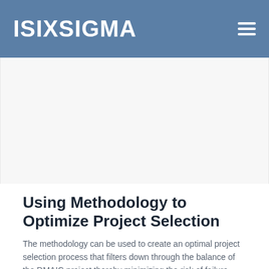ISIXSIGMA
Using Methodology to Optimize Project Selection
The methodology can be used to create an optimal project selection process that filters down through the balance of the DMAIC project thereby minimizing the risk of failure. The key to an effective project and the intent of this additional process is to assure that the selected project utilizes the strongest level of complementary resources.